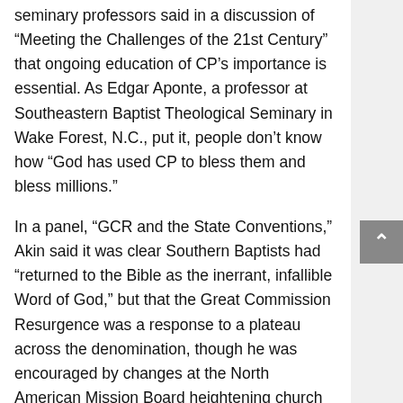seminary professors said in a discussion of “Meeting the Challenges of the 21st Century” that ongoing education of CP’s importance is essential. As Edgar Aponte, a professor at Southeastern Baptist Theological Seminary in Wake Forest, N.C., put it, people don’t know how “God has used CP to bless them and bless millions.”
In a panel, “GCR and the State Conventions,” Akin said it was clear Southern Baptists had “returned to the Bible as the inerrant, infallible Word of God,” but that the Great Commission Resurgence was a response to a plateau across the denomination, though he was encouraged by changes at the North American Mission Board heightening church planting.
Nate Adams, executive director of the Illinois Baptist State Association, said that due to GCR-related changes in CP funding back through state Baptist conventions,